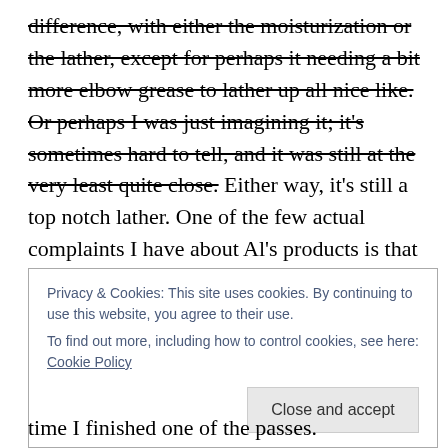difference, with either the moisturization or the lather, except for perhaps it needing a bit more elbow grease to lather up all nice like. Or perhaps I was just imagining it; it's sometimes hard to tell, and it was still at the very least quite close. Either way, it's still a top notch lather. One of the few actual complaints I have about Al's products is that he doesn't give the full ingredient listing, so it's hard to tell if you think he's been tweaking things.

Anyways, I can't really say that I was too much of a fan of the scent, but I'm not really a fan of the aquatic scents
Privacy & Cookies: This site uses cookies. By continuing to use this website, you agree to their use. To find out more, including how to control cookies, see here: Cookie Policy
time I finished one of the passes.